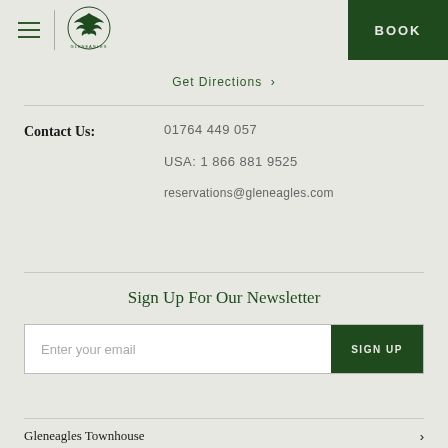BOOK
Get Directions >
Contact Us: 01764 449 057 | USA: 1 866 881 9525 | reservations@gleneagles.com
Sign Up For Our Newsletter
Enter your email | SIGN UP
Gleneagles Townhouse